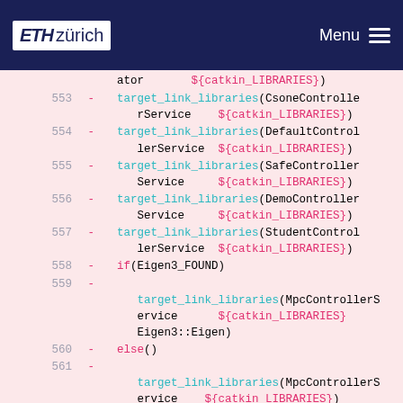ETH zürich   Menu
ator   ${catkin_LIBRARIES})
553  - target_link_libraries(CsoneControllerService   ${catkin_LIBRARIES})
554  - target_link_libraries(DefaultControllerService   ${catkin_LIBRARIES})
555  - target_link_libraries(SafeControllerService   ${catkin_LIBRARIES})
556  - target_link_libraries(DemoControllerService   ${catkin_LIBRARIES})
557  - target_link_libraries(StudentControllerService   ${catkin_LIBRARIES})
558  - if(Eigen3_FOUND)
559  -   target_link_libraries(MpcControllerService   ${catkin_LIBRARIES} Eigen3::Eigen)
560  - else()
561  -   target_link_libraries(MpcControllerService   ${catkin_LIBRARIES})